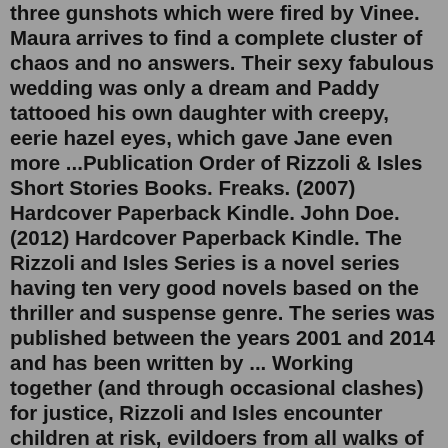three gunshots which were fired by Vinee. Maura arrives to find a complete cluster of chaos and no answers. Their sexy fabulous wedding was only a dream and Paddy tattooed his own daughter with creepy, eerie hazel eyes, which gave Jane even more ...Publication Order of Rizzoli & Isles Short Stories Books. Freaks. (2007) Hardcover Paperback Kindle. John Doe. (2012) Hardcover Paperback Kindle. The Rizzoli and Isles Series is a novel series having ten very good novels based on the thriller and suspense genre. The series was published between the years 2001 and 2014 and has been written by ... Working together (and through occasional clashes) for justice, Rizzoli and Isles encounter children at risk, evildoers from all walks of life, desperate souls, and cold-blooded killers. In the process of their investigations, Rizzoli and Isles also connect with colorful Boston locals, from tony Beacon Hill to gang-ridden tenements, at their best.Rizzoli and Isles: Boston Butcher: Help Rizzoli and Isles track down the Boston Butcher, a dangerous serial killer in this 2nd